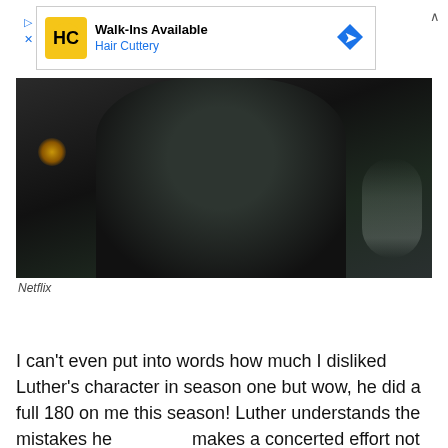[Figure (screenshot): Advertisement banner for Hair Cuttery salon: Walk-Ins Available, Hair Cuttery, with logo and navigation icon]
[Figure (photo): Dark, moody screenshot from Netflix show showing a figure with back turned to the camera in a dimly lit room]
Netflix
[Figure (screenshot): Social share buttons: Facebook (blue circle) and Pinterest (red circle)]
I can't even put into words how much I disliked Luther's character in season one but wow, he did a full 180 on me this season! Luther understands the mistakes he makes a concerted effort not to repeat them. Plus, all of his
[Figure (screenshot): Pink pill-shaped app download banner reading: Find more in the app! X]